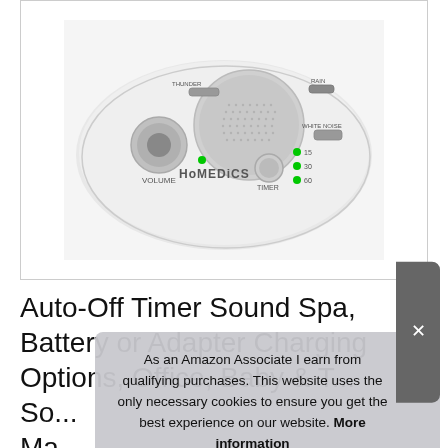[Figure (photo): HoMedics white noise sound spa machine with volume knob, timer button, LED indicators for 15/30/60 minute settings, THUNDER and RAIN sound selectors, WHITE NOISE switch, and HoMedics branding on top]
Auto-Off Timer Sound Spa, Battery or Adapter Charging Options, Office, Baby & T... So... Ma... Home
As an Amazon Associate I earn from qualifying purchases. This website uses the only necessary cookies to ensure you get the best experience on our website. More information